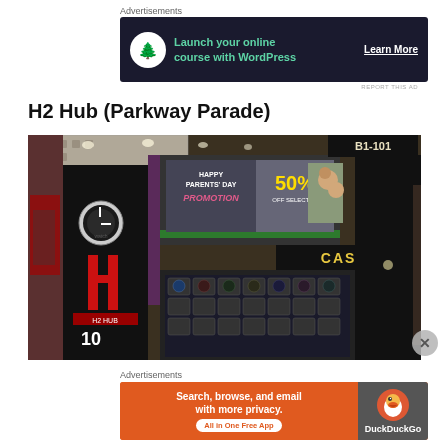Advertisements
[Figure (screenshot): Advertisement banner: dark navy background with tree icon in circle, text 'Launch your online course with WordPress' in teal, 'Learn More' button in white underlined]
REPORT THIS AD
H2 Hub (Parkway Parade)
[Figure (photo): Interior photo of H2 Hub store at Parkway Parade (unit B1-101). Shows Casio watch display cases, promotional banner showing 'Happy Parents' Day 50% off', H2 Hub branding, and various watches displayed on shelves.]
Advertisements
[Figure (screenshot): DuckDuckGo advertisement banner: orange background with text 'Search, browse, and email with more privacy. All in One Free App' on left, DuckDuckGo logo on right dark section]
REPORT THIS AD